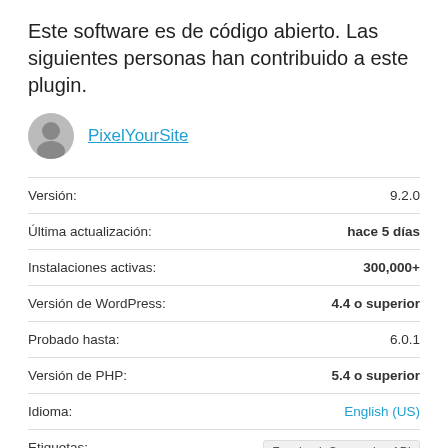Este software es de código abierto. Las siguientes personas han contribuido a este plugin.
PixelYourSite
| Campo | Valor |
| --- | --- |
| Versión: | 9.2.0 |
| Última actualización: | hace 5 días |
| Instalaciones activas: | 300,000+ |
| Versión de WordPress: | 4.4 o superior |
| Probado hasta: | 6.0.1 |
| Versión de PHP: | 5.4 o superior |
| Idioma: | English (US) |
| Etiquetas: | Facebook Conversion API  Facebook Pixel  Facebook Pixel Events  Meta Pixel |